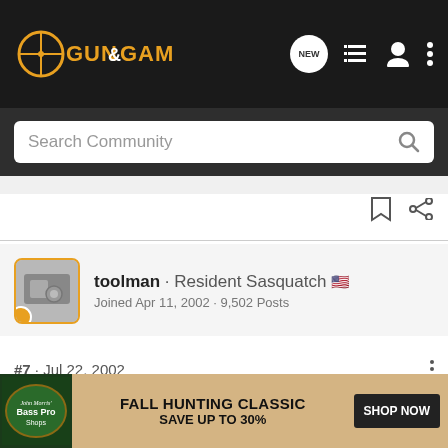[Figure (screenshot): Gun & Game website navigation bar with logo, search bar, and icons]
Search Community
toolman · Resident Sasquatch 🇺🇸
Joined Apr 11, 2002 · 9,502 Posts
#7 · Jul 22, 2002
i remember seeing an ad in shotgun news awhile back for a conversion kit to enable ak mag use in an sks,not sure who had it. i'll do some digging and see if i can find it.even though the sks is the easiest gun i've ever seen to load w/strippers,i like the idea of just yanking the empty out and stuffing in a fresh load.think i might use one of the factory 30 rounders just the same si
[Figure (screenshot): Bass Pro Shops ad: FALL HUNTING CLASSIC SAVE UP TO 30% SHOP NOW]